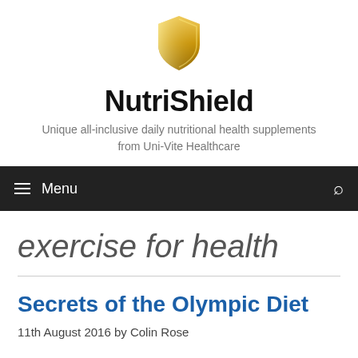[Figure (logo): Gold shield logo for NutriShield brand]
NutriShield
Unique all-inclusive daily nutritional health supplements from Uni-Vite Healthcare
≡ Menu
exercise for health
Secrets of the Olympic Diet
11th August 2016 by Colin Rose